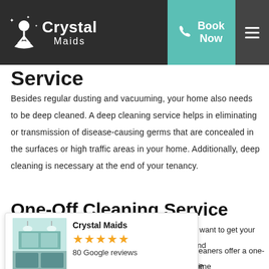Crystal Maids — Book Now (navigation bar)
Service
Besides regular dusting and vacuuming, your home also needs to be deep cleaned. A deep cleaning service helps in eliminating or transmission of disease-causing germs that are concealed in the surfaces or high traffic areas in your home. Additionally, deep cleaning is necessary at the end of your tenancy.
One-Off Cleaning Service
[Figure (other): Crystal Maids review card with photo of kitchen, 5 stars, 80 Google reviews]
nd want to get your bond
t cleaners offer a one-time